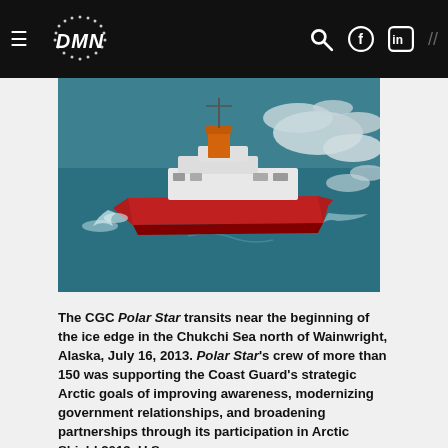DMN — navigation header with hamburger menu, DMN logo, search, Facebook, LinkedIn icons
[Figure (photo): Aerial view of the CGC Polar Star icebreaker ship transiting near ice edge in Arctic waters, with red hull and white superstructure surrounded by teal/blue water and ice floes]
The CGC Polar Star transits near the beginning of the ice edge in the Chukchi Sea north of Wainwright, Alaska, July 16, 2013. Polar Star's crew of more than 150 was supporting the Coast Guard's strategic Arctic goals of improving awareness, modernizing government relationships, and broadening partnerships through its participation in Arctic Shield 2013. U.S.